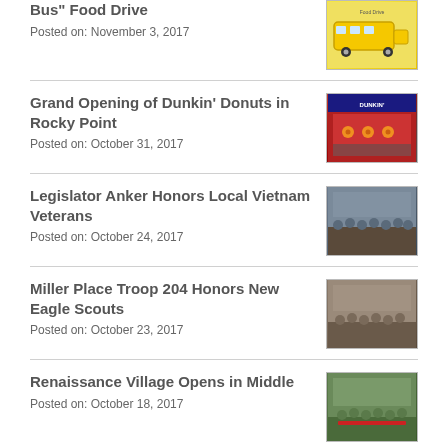Bus" Food Drive
Posted on: November 3, 2017
[Figure (photo): Yellow school bus graphic with text]
Grand Opening of Dunkin' Donuts in Rocky Point
Posted on: October 31, 2017
[Figure (photo): People gathered at Dunkin Donuts grand opening with decorations]
Legislator Anker Honors Local Vietnam Veterans
Posted on: October 24, 2017
[Figure (photo): Group photo of Vietnam veterans with legislator]
Miller Place Troop 204 Honors New Eagle Scouts
Posted on: October 23, 2017
[Figure (photo): Group photo at Eagle Scouts ceremony]
Renaissance Village Opens in Middle
Posted on: October 18, 2017
[Figure (photo): Ribbon cutting ceremony at Renaissance Village]
Legislator Anker Attends Open House at Miller Place Fire Department
[Figure (photo): Outdoor group photo at Miller Place Fire Department]